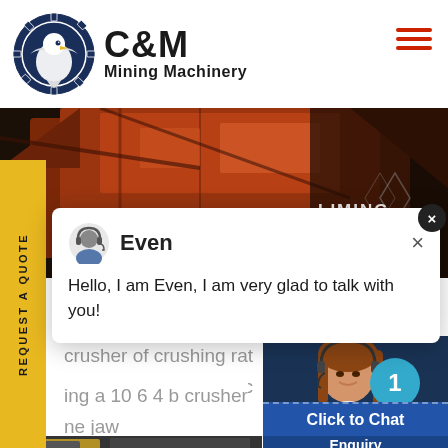[Figure (logo): C&M Mining Machinery logo with eagle/gear emblem in navy blue circle, company name in bold black text]
[Figure (photo): Industrial mining machinery background image with orange/rust colored equipment, LIMING HEAVY INDUSTRY text visible]
REQUEST A QUOTE
[Figure (screenshot): Chat popup with avatar of support agent named Even, message: Hello, I am Even, I am very glad to talk with you!]
crusher of crushing ration 4 6 c
ne,sand and ore source from a l
ing a 10 6 4 b crusher pe 400 60
ne jaw
[Figure (photo): Customer service representative woman with headset, smiling, with notification badge showing number 1]
Click to Chat
Enquiry